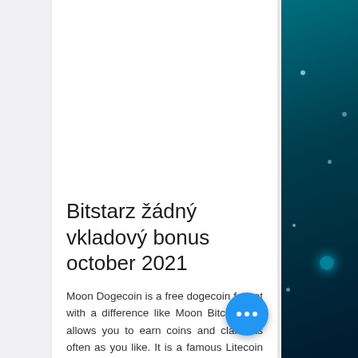Bitstarz žádný vkladový bonus october 2021
Moon Dogecoin is a free dogecoin faucet with a difference like Moon Bitcoin that allows you to earn coins and claim as often as you like. It is a famous Litecoin faucet that is completely free and lets you earn as free coins as you want. It has been established and officially launched in